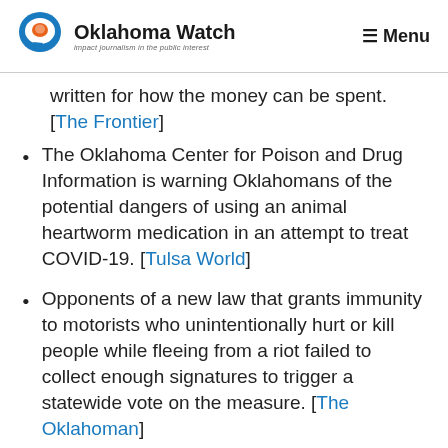[Figure (logo): Oklahoma Watch logo with circular speech bubble icon in blue/orange and text 'Oklahoma Watch — impact journalism in the public interest']
written for how the money can be spent. [The Frontier]
The Oklahoma Center for Poison and Drug Information is warning Oklahomans of the potential dangers of using an animal heartworm medication in an attempt to treat COVID-19. [Tulsa World]
Opponents of a new law that grants immunity to motorists who unintentionally hurt or kill people while fleeing from a riot failed to collect enough signatures to trigger a statewide vote on the measure. [The Oklahoman]